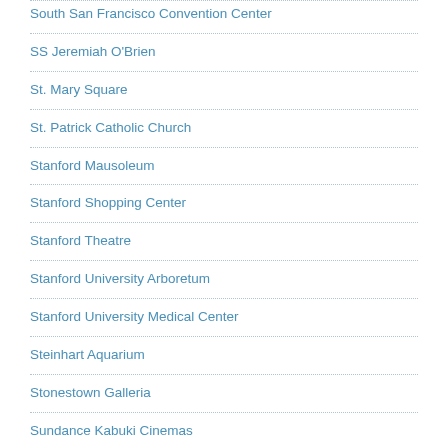South San Francisco Convention Center
SS Jeremiah O'Brien
St. Mary Square
St. Patrick Catholic Church
Stanford Mausoleum
Stanford Shopping Center
Stanford Theatre
Stanford University Arboretum
Stanford University Medical Center
Steinhart Aquarium
Stonestown Galleria
Sundance Kabuki Cinemas
Sunset Headquarters and Gardens